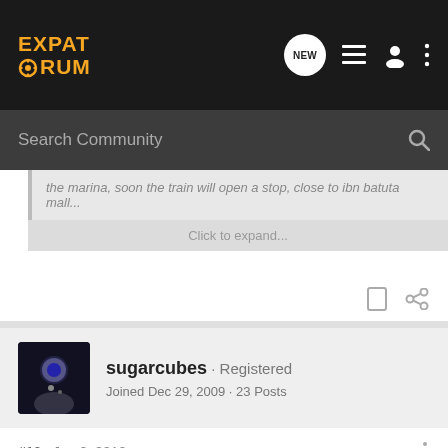EXPAT FORUM
Search Community
the marina, soon the train will open a stop, close to ibn batuta mall...
Click to expand...
sugarcubes · Registered
Joined Dec 29, 2009 · 23 Posts
#10 · Jan 8, 2010
im moving to dubai next month and JLT is a place im considering ..
any information ... would be highly appreciated !